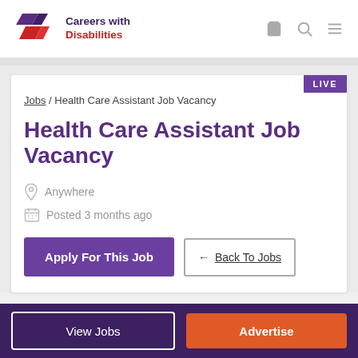Careers with Disabilities
Jobs / Health Care Assistant Job Vacancy
Health Care Assistant Job Vacancy
Anywhere
Posted 3 months ago
Apply For This Job
← Back To Jobs
View Jobs | Advertise